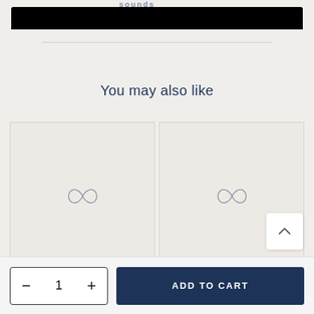[Figure (screenshot): Top black image/video bar area, partially cropped at top]
You may also like
[Figure (illustration): Two product placeholder cards side by side, each showing an infinity-loop brand watermark logo]
– 1 +
ADD TO CART